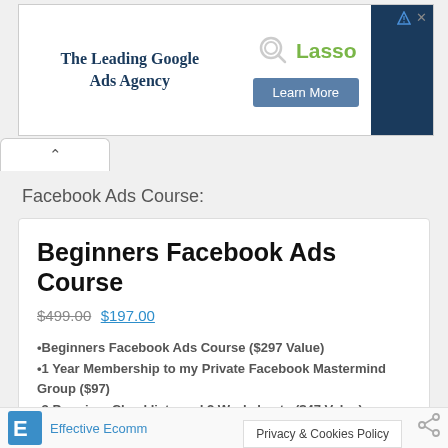[Figure (other): Advertisement banner: 'The Leading Google Ads Agency' with Lasso logo and 'Learn More' button]
Facebook Ads Course:
Beginners Facebook Ads Course
$499.00 $197.00
•Beginners Facebook Ads Course ($297 Value)
•1 Year Membership to my Private Facebook Mastermind Group ($97)
•3 Premium Checklists and 2 Worksheets ($47 Value)
Effective Ecommerce
Privacy & Cookies Policy